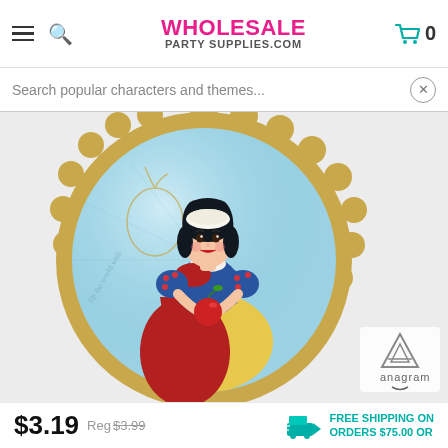WHOLESALE PARTY SUPPLIES.COM
Search popular characters and themes...
[Figure (photo): Snow White Disney princess foil balloon from Anagram. Round balloon with gold scalloped border, light blue background, Snow White holding a red apple, wearing blue and yellow dress with red cape. Anagram logo in bottom right corner.]
$3.19  Reg $3.99  FREE SHIPPING ON ORDERS $75.00 OR